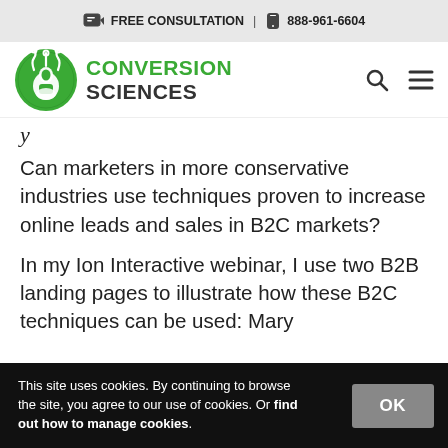FREE CONSULTATION | 888-961-6604
[Figure (logo): Conversion Sciences logo with green circular icon and text CONVERSION SCIENCES]
y
Can marketers in more conservative industries use techniques proven to increase online leads and sales in B2C markets?
In my Ion Interactive webinar, I use two B2B landing pages to illustrate how these B2C techniques can be used: Mary
This site uses cookies. By continuing to browse the site, you agree to our use of cookies. Or find out how to manage cookies.